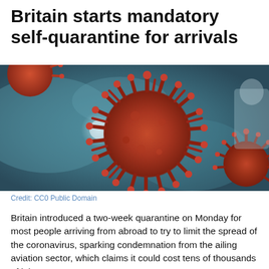Britain starts mandatory self-quarantine for arrivals
[Figure (photo): Close-up photograph of red coronavirus particle models with spiky surface proteins, set against a blurred teal/blue medical background with what appears to be a person in protective equipment.]
Credit: CC0 Public Domain
Britain introduced a two-week quarantine on Monday for most people arriving from abroad to try to limit the spread of the coronavirus, sparking condemnation from the ailing aviation sector, which claims it could cost tens of thousands of jobs.
British residents and overseas visitors will have to comply